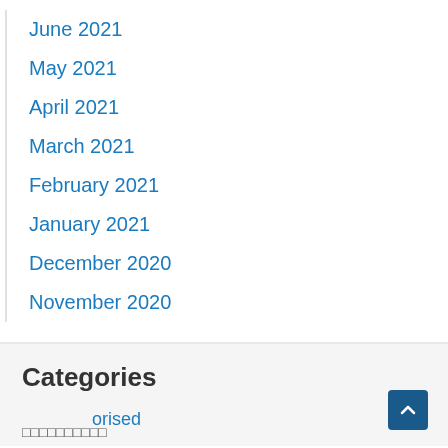June 2021
May 2021
April 2021
March 2021
February 2021
January 2021
December 2020
November 2020
Categories
Unauthorised
[Figure (logo): Facebook Messenger button (blue circle with lightning bolt icon) and GetButton label below]
[Figure (other): Scroll to top button (dark blue square with upward arrow chevron)]